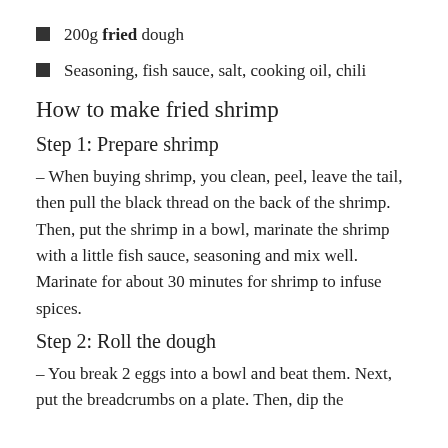200g fried dough
Seasoning, fish sauce, salt, cooking oil, chili
How to make fried shrimp
Step 1: Prepare shrimp
– When buying shrimp, you clean, peel, leave the tail, then pull the black thread on the back of the shrimp. Then, put the shrimp in a bowl, marinate the shrimp with a little fish sauce, seasoning and mix well. Marinate for about 30 minutes for shrimp to infuse spices.
Step 2: Roll the dough
– You break 2 eggs into a bowl and beat them. Next, put the breadcrumbs on a plate. Then, dip the